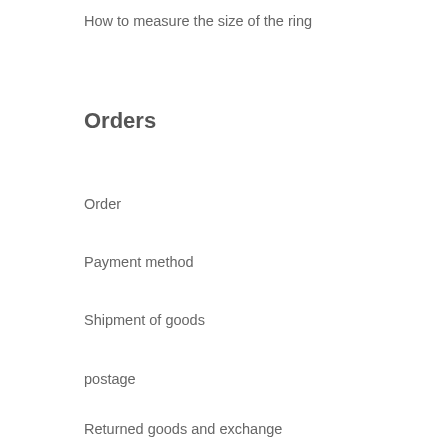How to measure the size of the ring
Orders
Order
Payment method
Shipment of goods
postage
Returned goods and exchange